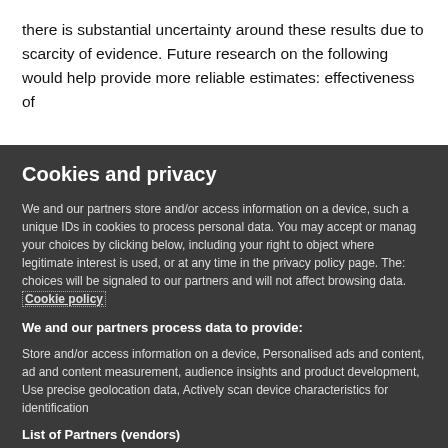there is substantial uncertainty around these results due to scarcity of evidence. Future research on the following would help provide more reliable estimates: effectiveness of
Cookies and privacy
We and our partners store and/or access information on a device, such a unique IDs in cookies to process personal data. You may accept or manage your choices by clicking below, including your right to object where legitimate interest is used, or at any time in the privacy policy page. These choices will be signaled to our partners and will not affect browsing data. Cookie policy
We and our partners process data to provide:
Store and/or access information on a device, Personalised ads and content, ad and content measurement, audience insights and product development, Use precise geolocation data, Actively scan device characteristics for identification
List of Partners (vendors)
I Accept